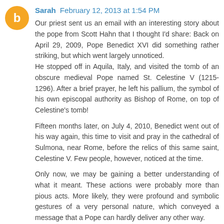Sarah  February 12, 2013 at 1:54 PM
Our priest sent us an email with an interesting story about the pope from Scott Hahn that I thought I'd share: Back on April 29, 2009, Pope Benedict XVI did something rather striking, but which went largely unnoticed.
He stopped off in Aquila, Italy, and visited the tomb of an obscure medieval Pope named St. Celestine V (1215-1296). After a brief prayer, he left his pallium, the symbol of his own episcopal authority as Bishop of Rome, on top of Celestine's tomb!

Fifteen months later, on July 4, 2010, Benedict went out of his way again, this time to visit and pray in the cathedral of Sulmona, near Rome, before the relics of this same saint, Celestine V. Few people, however, noticed at the time.

Only now, we may be gaining a better understanding of what it meant. These actions were probably more than pious acts. More likely, they were profound and symbolic gestures of a very personal nature, which conveyed a message that a Pope can hardly deliver any other way.